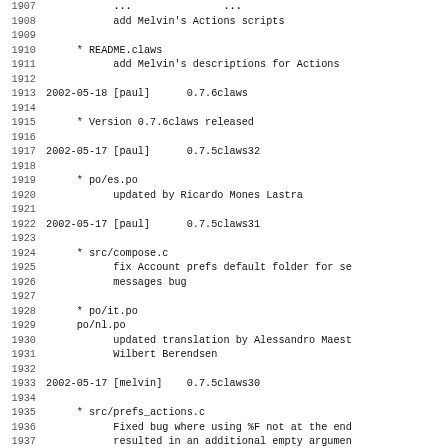Changelog/commit log entries from lines 1907-1939, showing version history for claws mail project
1908: add Melvin's Actions scripts
1910: * README.claws
1911: add Melvin's descriptions for Actions
1913: 2002-05-18 [paul] 0.7.6claws
1915: * Version 0.7.6claws released
1917: 2002-05-17 [paul] 0.7.5claws32
1919: * po/es.po
1920: updated by Ricardo Mones Lastra
1922: 2002-05-17 [paul] 0.7.5claws31
1924: * src/compose.c
1925: fix Account prefs default folder for se
1926: messages bug
1928: * po/it.po
1929: po/nl.po
1930: updated translation by Alessandro Maest
1931: Wilbert Berendsen
1933: 2002-05-17 [melvin] 0.7.5claws30
1935: * src/prefs_actions.c
1936: Fixed bug where using %F not at the end
1937: resulted in an additional empty argumen
1938: Thanks to Darko Koruga for reporting th
1939: